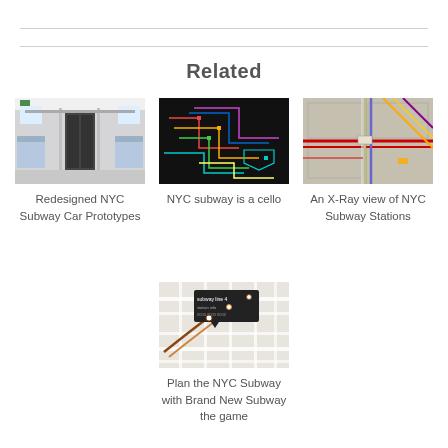Related
[Figure (photo): Interior of a redesigned NYC subway car, white and gray tones]
Redesigned NYC Subway Car Prototypes
[Figure (photo): NYC subway map rendered as colorful lines on black background resembling a cello]
NYC subway is a cello
[Figure (photo): Aerial X-Ray view of NYC subway station infrastructure with colored lines]
An X-Ray view of NYC Subway Stations
[Figure (screenshot): Map screenshot of NYC subway planning game with brown and orange route lines on street map]
Plan the NYC Subway with Brand New Subway the game